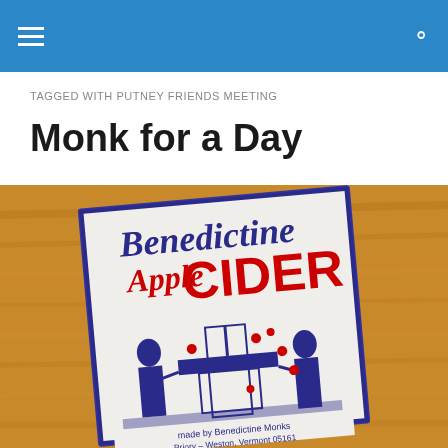TAGGED WITH PUTNEY FRIENDS MEETING
Monk for a Day
[Figure (photo): A photograph of a Benedictine Apple Cider label/box sitting on a wooden surface. The label features navy blue text reading 'Benedictine' and red text reading 'Apple CIDER', with an illustrated scene of monks using an apple cider press. Small text near the bottom reads 'made by Benedictine Monks' and 'Priory – Weston, Vermont 05161' and '34 Oz.']